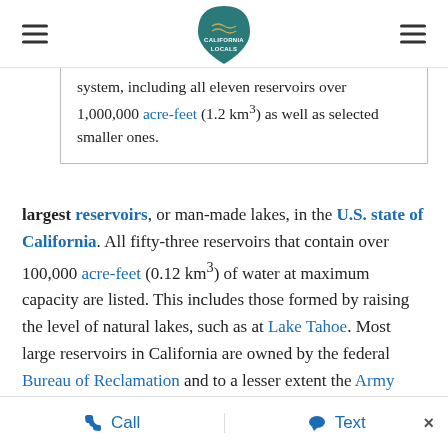California Locals logo with hamburger menus on left and right
system, including all eleven reservoirs over 1,000,000 acre-feet (1.2 km³) as well as selected smaller ones.
largest reservoirs, or man-made lakes, in the U.S. state of California. All fifty-three reservoirs that contain over 100,000 acre-feet (0.12 km³) of water at maximum capacity are listed. This includes those formed by raising the level of natural lakes, such as at Lake Tahoe. Most large reservoirs in California are owned by the federal Bureau of Reclamation and to a lesser extent the Army Corps of Engineers, many serving the Central Valley Project or State Water
Call   Text   ×